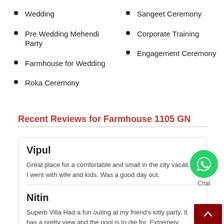Wedding
Sangeet Ceremony
Pre Wedding Mehendi Party
Corporate Training
Farmhouse for Wedding
Engagement Ceremony
Roka Ceremony
Recent Reviews for Farmhouse 1105 GN
Vipul
Great place for a comfortable and small in the city vacation. I went with wife and kids. Was a good day out.
Nitin
Superb Villa Had a fun outing at my friend's kitty party. It has a pretty view and the pool is to die for. Extremely